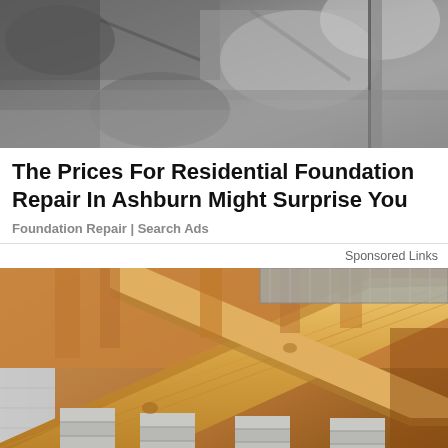[Figure (photo): Construction/foundation excavation photo showing concrete and rocks]
The Prices For Residential Foundation Repair In Ashburn Might Surprise You
Foundation Repair | Search Ads
Sponsored Links
[Figure (photo): Interior crawlspace photo showing new wooden floor joists/beams supported by concrete block piers, with insulation and ductwork visible above]